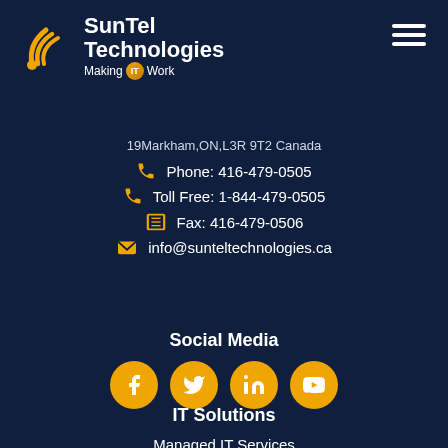[Figure (logo): SunTel Technologies logo with orange signal/wifi arc graphic and text 'SunTel Technologies Making IT Work']
19Markham,ON,L3R 9T2 Canada
Phone: 416-479-0505
Toll Free: 1-844-479-0505
Fax: 416-479-0506
info@sunteltechnologies.ca
Social Media
[Figure (illustration): Four orange circular social media icons: Facebook, Twitter, LinkedIn, YouTube]
IT Solutions
Managed IT Services
Managed IT Solutions